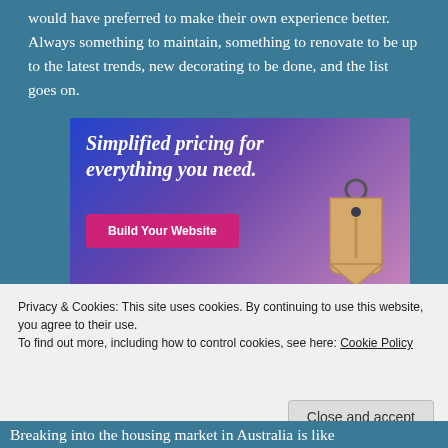would have preferred to make their own experience better. Always something to maintain, something to renovate to be up to the latest trends, new decorating to be done, and the list goes on.
[Figure (screenshot): Advertisement banner with blue-to-purple gradient background. Text reads 'Simplified pricing for everything you need.' with a pink 'Build Your Website' button and a hanging price tag illustration on the right.]
Privacy & Cookies: This site uses cookies. By continuing to use this website, you agree to their use.
To find out more, including how to control cookies, see here: Cookie Policy
Close and accept
Breaking into the housing market in Australia is like